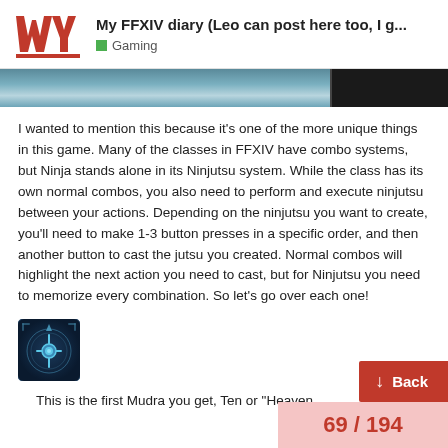My FFXIV diary (Leo can post here too, I g... | Gaming
[Figure (screenshot): Partial screenshot of a game scene with blue/teal sky imagery on dark background]
I wanted to mention this because it's one of the more unique things in this game. Many of the classes in FFXIV have combo systems, but Ninja stands alone in its Ninjutsu system. While the class has its own normal combos, you also need to perform and execute ninjutsu between your actions. Depending on the ninjutsu you want to create, you'll need to make 1-3 button presses in a specific order, and then another button to cast the jutsu you created. Normal combos will highlight the next action you need to cast, but for Ninjutsu you need to memorize every combination. So let's go over each one!
[Figure (screenshot): FFXIV game icon for a Mudra/Ninjutsu skill, showing a blue glowing symbol on dark background]
This is the first Mudra you get, Ten or "Heaven